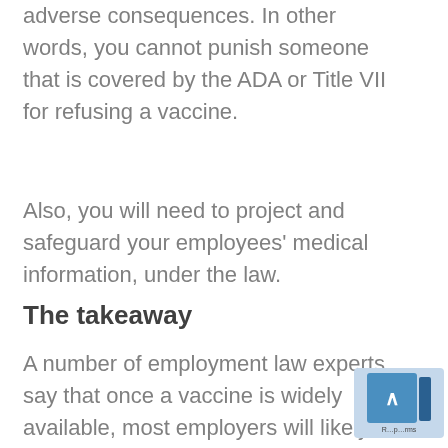adverse consequences. In other words, you cannot punish someone that is covered by the ADA or Title VII for refusing a vaccine.
Also, you will need to project and safeguard your employees' medical information, under the law.
The takeaway
A number of employment law experts say that once a vaccine is widely available, most employers will likely